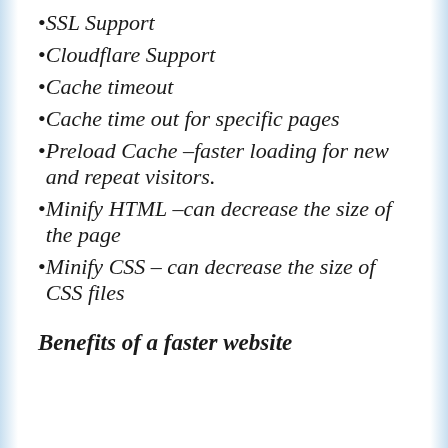SSL Support
Cloudflare Support
Cache timeout
Cache time out for specific pages
Preload Cache –faster loading for new and repeat visitors.
Minify HTML –can decrease the size of the page
Minify CSS – can decrease the size of CSS files
Benefits of a faster website